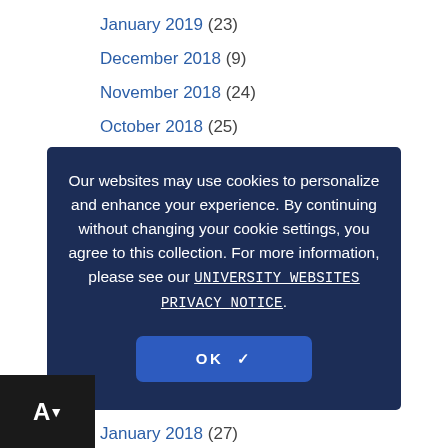January 2019 (23)
December 2018 (9)
November 2018 (24)
October 2018 (25)
September 2018 (28)
August 2018 (21)
July 2018 (11)
June 2018 (15)
May 2018
April 2018 (30)
March 2018 (18)
February 2018 (25)
January 2018 (27)
December 2017 (14)
November 2017 (32)
Our websites may use cookies to personalize and enhance your experience. By continuing without changing your cookie settings, you agree to this collection. For more information, please see our UNIVERSITY WEBSITES PRIVACY NOTICE.
OK ✓